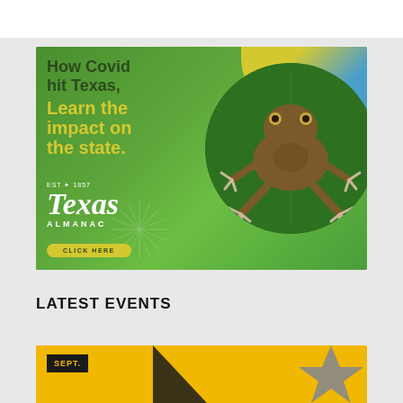[Figure (illustration): Texas Almanac advertisement on green background featuring a frog on a large green leaf. Text reads: 'How Covid hit Texas, Learn the impact on the state.' with the Texas Almanac EST 1857 logo and a 'CLICK HERE' button.]
LATEST EVENTS
[Figure (photo): Bottom strip of a yellow/gold event banner with 'SEPT.' date label in a black box on the left, a dark swooping shape in the center, and a metallic star on the right.]